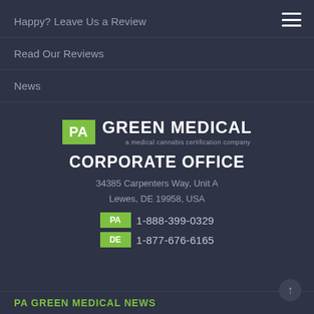Happy? Leave Us a Review
Read Our Reviews
News
[Figure (logo): PA Green Medical logo — green PA badge followed by 'GREEN MEDICAL' text and subtitle 'a medical cannabis certification company']
CORPORATE OFFICE
34385 Carpenters Way, Unit A
Lewes, DE 19958, USA
PA 1-888-399-0329
DE 1-877-676-6165
PA GREEN MEDICAL NEWS